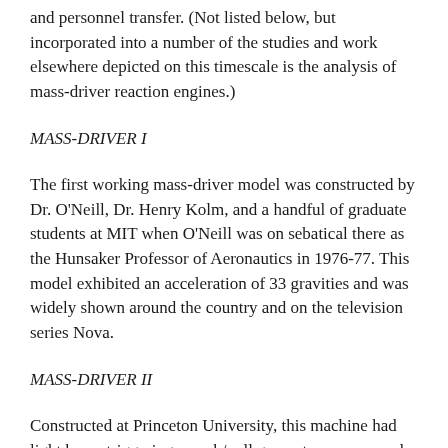and personnel transfer. (Not listed below, but incorporated into a number of the studies and work elsewhere depicted on this timescale is the analysis of mass-driver reaction engines.)
MASS-DRIVER I
The first working mass-driver model was constructed by Dr. O'Neill, Dr. Henry Kolm, and a handful of graduate students at MIT when O'Neill was on sebatical there as the Hunsaker Professor of Aeronautics in 1976-77. This model exhibited an acceleration of 33 gravities and was widely shown around the country and on the television series Nova.
MASS-DRIVER II
Constructed at Princeton University, this machine had light beam triggering a push/pull geometry, as opposed to MDI's push only configuration. It featured light beam triggering of the drive coils and electromagnetic flight for the bucket.